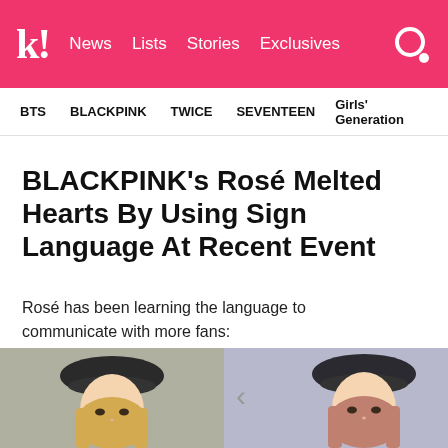k! News Lists Stories Exclusives
BTS BLACKPINK TWICE SEVENTEEN Girls' Generation
BLACKPINK's Rosé Melted Hearts By Using Sign Language At Recent Event
Rosé has been learning the language to communicate with more fans:
[Figure (photo): Two side-by-side photos of BLACKPINK's Rosé wearing a dark beret hat — left photo shows her with blonde hair, right photo shows her with pink/brown hair]